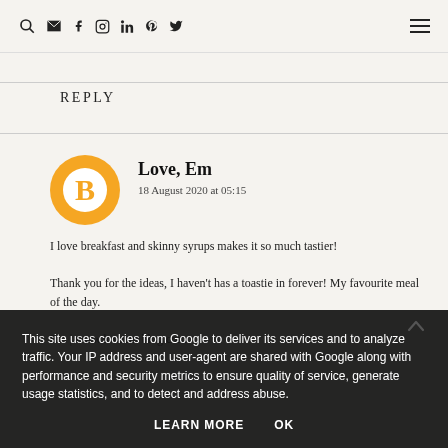Search, Email, Facebook, Instagram, LinkedIn, Pinterest, Twitter icons; hamburger menu
REPLY
Love, Em
18 August 2020 at 05:15
I love breakfast and skinny syrups makes it so much tastier! Thank you for the ideas, I haven't has a toastie in forever! My favourite meal of the day.
Em | www.loveem blog.com
This site uses cookies from Google to deliver its services and to analyze traffic. Your IP address and user-agent are shared with Google along with performance and security metrics to ensure quality of service, generate usage statistics, and to detect and address abuse.
LEARN MORE   OK